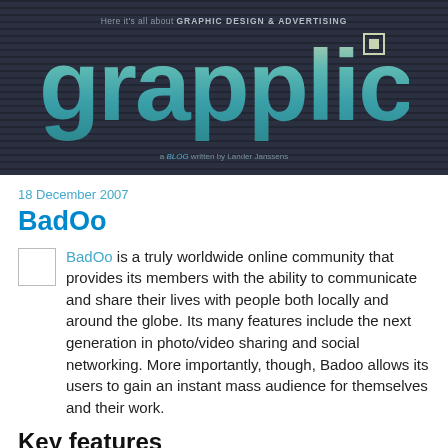grapplica — Here it's all about GRAPHIC DESIGN & ADVERTISING, a BLOG written by Lander Janssens
18 December 2007
BadOo
[Figure (other): Small thumbnail image placeholder for BadOo logo]
BadOo is a truly worldwide online community that provides its members with the ability to communicate and share their lives with people both locally and around the globe. Its many features include the next generation in photo/video sharing and social networking. More importantly, though, Badoo allows its users to gain an instant mass audience for themselves and their work.
Key features